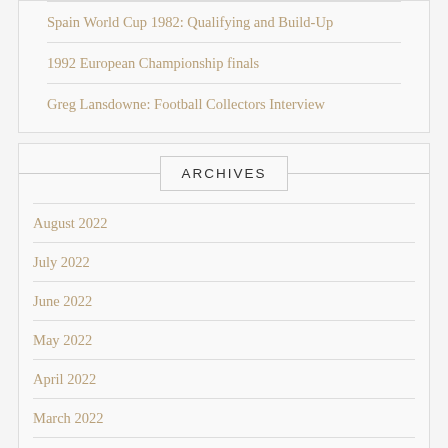Spain World Cup 1982: Qualifying and Build-Up
1992 European Championship finals
Greg Lansdowne: Football Collectors Interview
ARCHIVES
August 2022
July 2022
June 2022
May 2022
April 2022
March 2022
February 2022